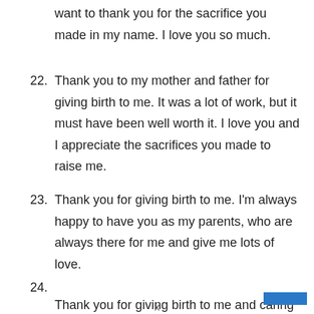want to thank you for the sacrifice you made in my name. I love you so much.
22. Thank you to my mother and father for giving birth to me. It was a lot of work, but it must have been well worth it. I love you and I appreciate the sacrifices you made to raise me.
23. Thank you for giving birth to me. I’m always happy to have you as my parents, who are always there for me and give me lots of love.
24. Thank you for giving birth to me and caring for